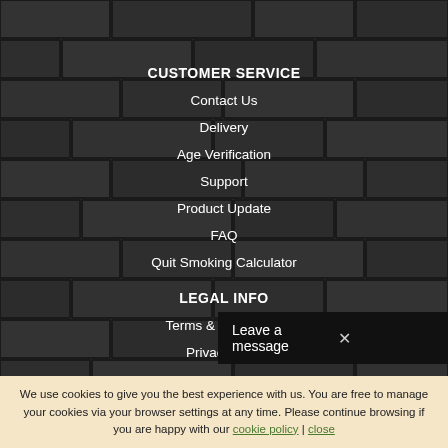CUSTOMER SERVICE
Contact Us
Delivery
Age Verification
Support
Product Update
FAQ
Quit Smoking Calculator
LEGAL INFO
Terms & Conditions
Privacy Po...
Leave a message ×
We use cookies to give you the best experience with us. You are free to manage your cookies via your browser settings at any time. Please continue browsing if you are happy with our cookie policy | close